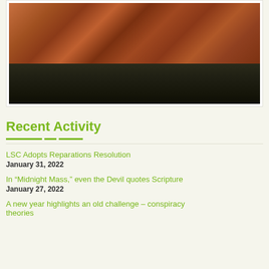[Figure (photo): Buddhist monks in red and orange robes seated on stone steps]
Recent Activity
LSC Adopts Reparations Resolution
January 31, 2022
In “Midnight Mass,” even the Devil quotes Scripture
January 27, 2022
A new year highlights an old challenge – conspiracy theories